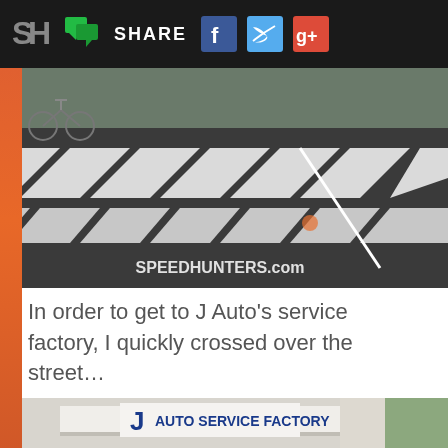SH SHARE [Facebook] [Twitter] [Google+]
[Figure (photo): Aerial/ground-level view of a Japanese pedestrian crosswalk (zebra crossing) with white stripe markings on dark asphalt road. A bicycle is visible in the upper left. Speedhunters.com watermark visible.]
In order to get to J Auto's service factory, I quickly crossed over the street...
[Figure (photo): Exterior shot of J Auto Service Factory building with blue J Auto logo signage visible on a white canopy/awning. Trees visible on the right.]